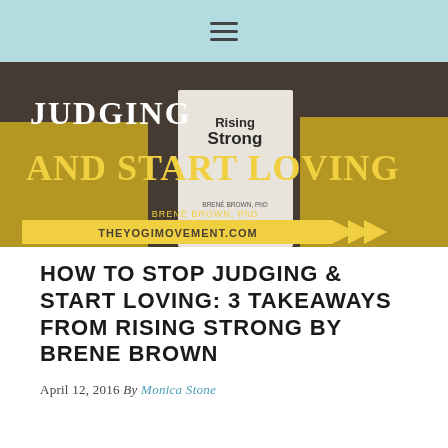☰
[Figure (photo): Blog post hero image showing text 'Judging And Start Loving' overlaid on a photo of a person holding the book 'Rising Strong' by Brene Brown, with a yellow banner reading 'TheYogiMovement.com']
HOW TO STOP JUDGING & START LOVING: 3 TAKEAWAYS FROM RISING STRONG BY BRENE BROWN
April 12, 2016  By  Monica Stone